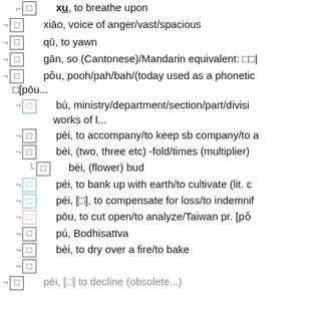xū, to breathe upon
xiāo, voice of anger/vast/spacious
qū, to yawn
gān, so (Cantonese)/Mandarin equivalent: ...
pǒu, pooh/pah/bah/(today used as a phonetic [pōu...
bù, ministry/department/section/part/divisi... works of l...
péi, to accompany/to keep sb company/to a...
bèi, (two, three etc) -fold/times (multiplier)
bèi, (flower) bud
péi, to bank up with earth/to cultivate (lit. c...
péi, [...], to compensate for loss/to indemnif...
pōu, to cut open/to analyze/Taiwan pr. [pǒ...
pú, Bodhisattva
bèi, to dry over a fire/to bake
péi, [...] to decline (obsolete...)